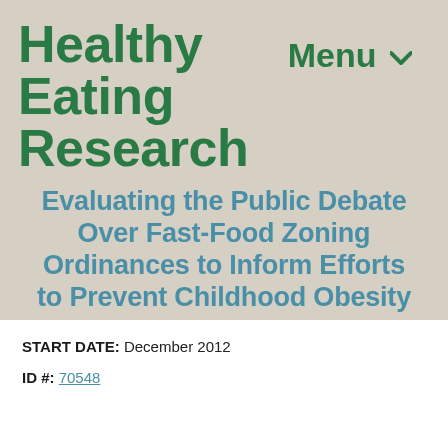Healthy Eating Research
Menu
Evaluating the Public Debate Over Fast-Food Zoning Ordinances to Inform Efforts to Prevent Childhood Obesity
START DATE: December 2012
ID #: 70548